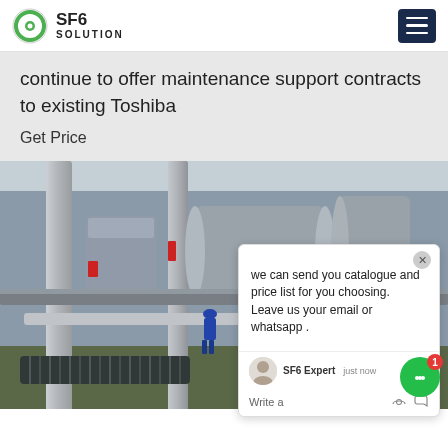SF6 SOLUTION
continue to offer maintenance support contracts to existing Toshiba
Get Price
[Figure (screenshot): Chat popup overlay with message: 'we can send you catalogue and price list for you choosing. Leave us your email or whatsapp .' Agent name: SF6 Expert, just now. Write a message area with icons.]
[Figure (photo): Electrical substation workers in blue uniforms and hard hats inspecting large SF6 gas-insulated switchgear equipment and pipes outdoors.]